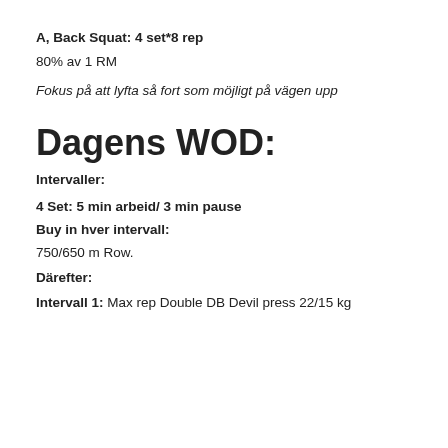A, Back Squat: 4 set*8 rep
80% av 1 RM
Fokus på att lyfta så fort som möjligt på vägen upp
Dagens WOD:
Intervaller:
4 Set: 5 min arbeid/ 3 min pause
Buy in hver intervall:
750/650 m Row.
Därefter:
Intervall 1: Max rep Double DB Devil press 22/15 kg